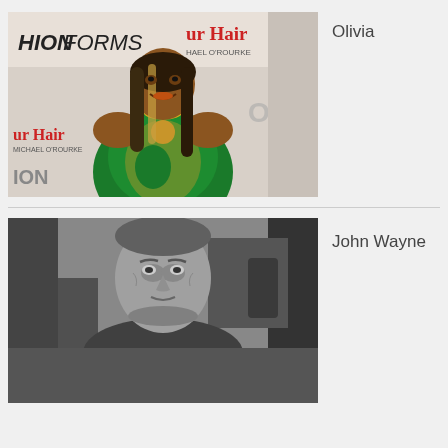[Figure (photo): Color photo of Olivia, a woman wearing a green and gold patterned dress with a gold necklace, posing at an event with banners reading 'HionForms', 'ur Hair Michael O'Rourke', and 'OK!' in the background.]
Olivia
[Figure (photo): Black and white portrait photo of John Wayne, a man visible from the shoulders up, looking slightly to the side.]
John Wayne